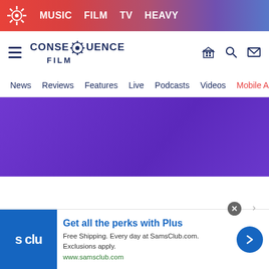MUSIC  FILM  TV  HEAVY
[Figure (logo): Consequence Film site logo with gear icon]
News  Reviews  Features  Live  Podcasts  Videos  Mobile A
[Figure (other): Purple gradient banner advertisement area]
News
[Figure (other): Sam's Club advertisement: Get all the perks with Plus. Free Shipping. Every day at SamsClub.com. Exclusions apply. www.samsclub.com]